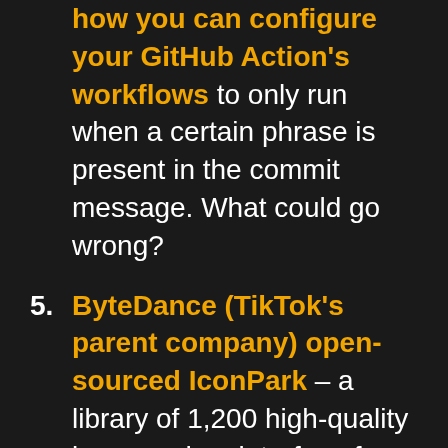Ryan wrote about how you can configure your GitHub Action's workflows to only run when a certain phrase is present in the commit message. What could go wrong?
5. ByteDance (TikTok's parent company) open-sourced IconPark – a library of 1,200 high-quality icons and an interface for customizing them. It's the coolest thing they've given us since the Savage dance.
6. The Dropbox team wrote an in-depth article about how they re-wrote the